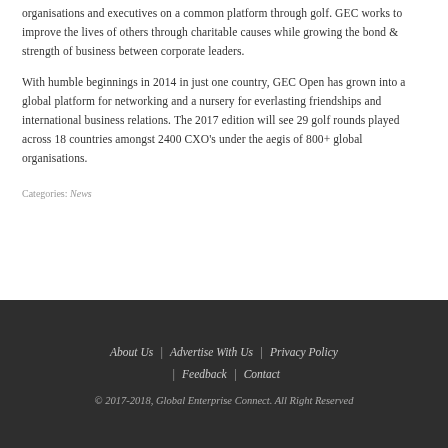organisations and executives on a common platform through golf. GEC works to improve the lives of others through charitable causes while growing the bond & strength of business between corporate leaders.
With humble beginnings in 2014 in just one country, GEC Open has grown into a global platform for networking and a nursery for everlasting friendships and international business relations. The 2017 edition will see 29 golf rounds played across 18 countries amongst 2400 CXO's under the aegis of 800+ global organisations.
Categories: News
About Us  |  Advertise With Us  |  Privacy Policy  |  Feedback  |  Contact
© 2017-2018, Global Enterprise Connect. All Right Reserved